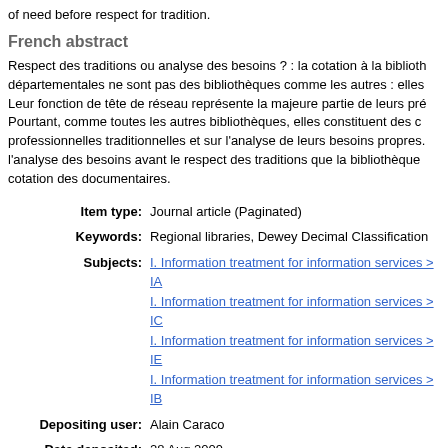of need before respect for tradition.
French abstract
Respect des traditions ou analyse des besoins ? : la cotation à la bibliothèques départementales ne sont pas des bibliothèques comme les autres : elles Leur fonction de tête de réseau représente la majeure partie de leurs pré Pourtant, comme toutes les autres bibliothèques, elles constituent des c professionnelles traditionnelles et sur l'analyse de leurs besoins propres. l'analyse des besoins avant le respect des traditions que la bibliothèque cotation des documentaires.
| Item type: | Journal article (Paginated) |
| Keywords: | Regional libraries, Dewey Decimal Classification |
| Subjects: | I. Information treatment for information services > IA
I. Information treatment for information services > IC
I. Information treatment for information services > IE
I. Information treatment for information services > IB |
| Depositing user: | Alain Caraco |
| Date deposited: | 28 Aug 2009 |
| Last modified: | 02 Oct 2014 12:15 |
| URI: | http://hdl.handle.net/10760/13489 |
Check full metadata for this record
Downloads